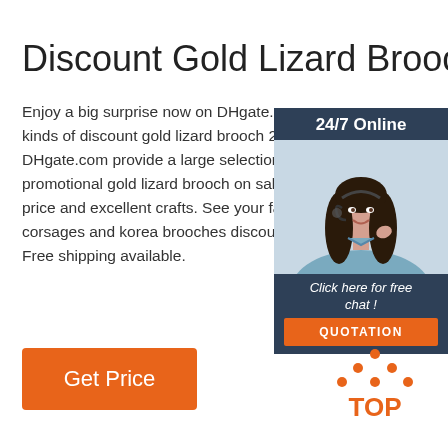Discount Gold Lizard Brooch
Enjoy a big surprise now on DHgate.com kinds of discount gold lizard brooch 202 DHgate.com provide a large selection o promotional gold lizard brooch on sale a price and excellent crafts. See your favo corsages and korea brooches discounte Free shipping available.
[Figure (infographic): 24/7 Online chat widget with woman wearing headset and orange QUOTATION button]
Get Price
[Figure (logo): TOP icon with orange dots and text]